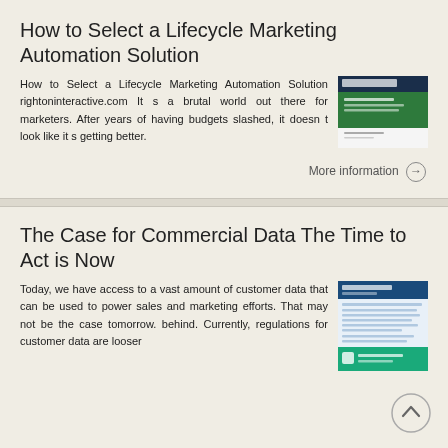How to Select a Lifecycle Marketing Automation Solution
How to Select a Lifecycle Marketing Automation Solution rightoninteractive.com It s a brutal world out there for marketers. After years of having budgets slashed, it doesn t look like it s getting better.
[Figure (screenshot): Thumbnail image of a document cover with green and white design, titled with marketing automation content]
More information →
The Case for Commercial Data The Time to Act is Now
Today, we have access to a vast amount of customer data that can be used to power sales and marketing efforts. That may not be the case tomorrow. behind. Currently, regulations for customer data are looser
[Figure (screenshot): Thumbnail image of a document with blue header and teal/green sections, related to commercial data]